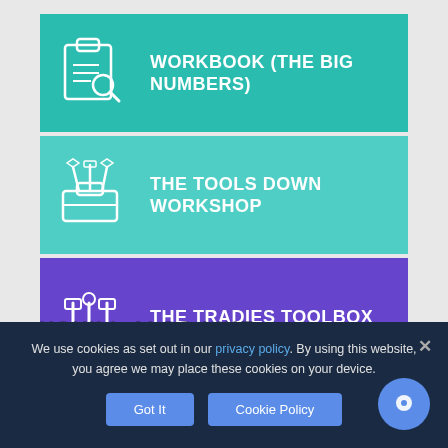[Figure (infographic): Teal block with workbook/search icon and text WORKBOOK (THE BIG NUMBERS)]
[Figure (infographic): Light teal block with toolbox icon and text THE TOOLS DOWN WORKSHOP]
[Figure (infographic): Purple block with tools/wrenches icon and text THE TRADIES TOOLBOX COACHING PROGRAM]
YOU'LL ALSO LIKE:
We use cookies as set out in our privacy policy. By using this website, you agree we may place these cookies on your device.